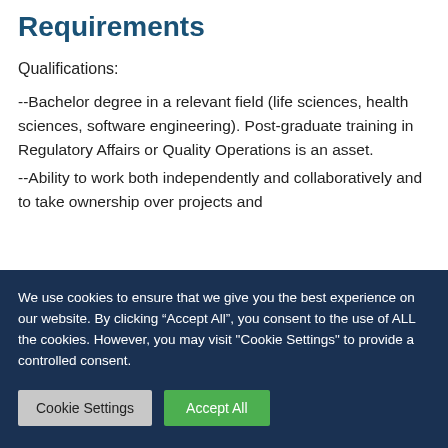Requirements
Qualifications:
--Bachelor degree in a relevant field (life sciences, health sciences, software engineering). Post-graduate training in Regulatory Affairs or Quality Operations is an asset.
--Ability to work both independently and collaboratively and to take ownership over projects and
We use cookies to ensure that we give you the best experience on our website. By clicking “Accept All”, you consent to the use of ALL the cookies. However, you may visit "Cookie Settings" to provide a controlled consent.